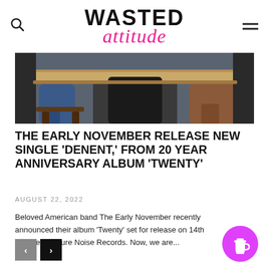WASTED ATTITUDE
[Figure (photo): Two people sitting at a diner-style table with a wooden surface, wearing jeans, shot from waist down]
THE EARLY NOVEMBER RELEASE NEW SINGLE 'DENENT,' FROM 20 YEAR ANNIVERSARY ALBUM 'TWENTY'
AUGUST 22, 2022
Beloved American band The Early November recently announced their album 'Twenty' set for release on 14th October on Pure Noise Records. Now, we are...